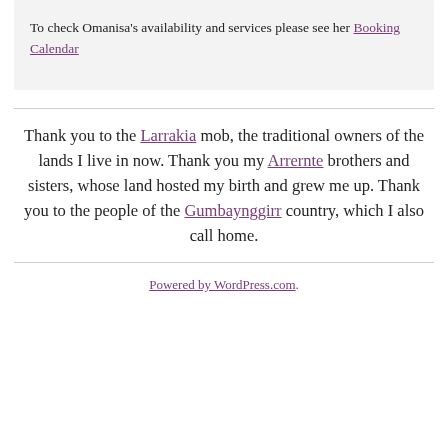To check Omanisa's availability and services please see her Booking Calendar
Thank you to the Larrakia mob, the traditional owners of the lands I live in now. Thank you my Arrernte brothers and sisters, whose land hosted my birth and grew me up. Thank you to the people of the Gumbaynggirr country, which I also call home.
Powered by WordPress.com.